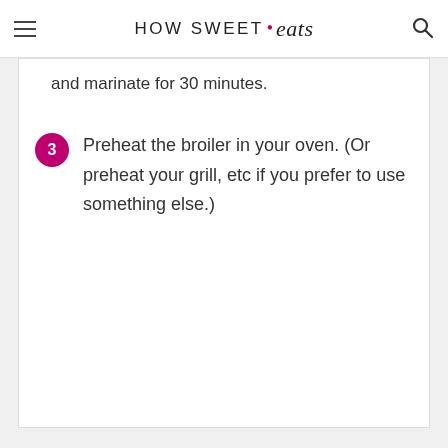HOW SWEET eats
and marinate for 30 minutes.
3  Preheat the broiler in your oven. (Or preheat your grill, etc if you prefer to use something else.)